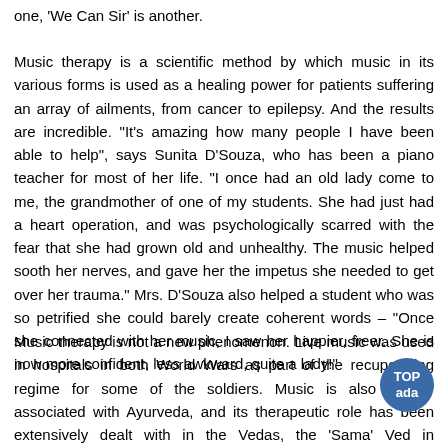one, 'We Can Sir' is another.
Music therapy is a scientific method by which music in its various forms is used as a healing power for patients suffering an array of ailments, from cancer to epilepsy. And the results are incredible. "It's amazing how many people I have been able to help", says Sunita D'Souza, who has been a piano teacher for most of her life. "I once had an old lady come to me, the grandmother of one of my students. She had just had a heart operation, and was psychologically scarred with the fear that she had grown old and unhealthy. The music helped sooth her nerves, and gave her the impetus she needed to get over her trauma." Mrs. D'Souza also helped a student who was so petrified she could barely create coherent words – "Once she connected with her music, I saw her happier, freer. She is now more confident, less awkward, quite a lady!"
Music therapy is not a new phenomenon. Live music was used in hospitals in both World Wars as part of the recuperating regime for some of the soldiers. Music is also closely associated with Ayurveda, and its therapeutic role has been extensively dealt with in the Vedas, the 'Sama' Ved in particular. According to Ayurvedic study, music